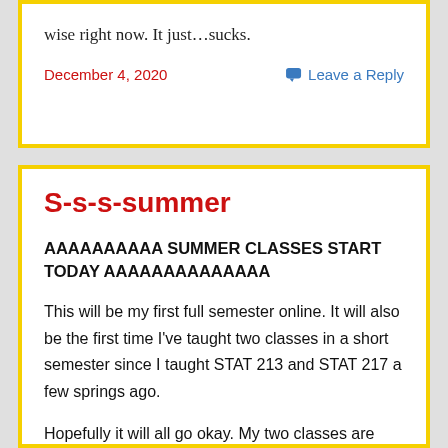wise right now. It just…sucks.
December 4, 2020
Leave a Reply
S-s-s-summer
AAAAAAAAAA SUMMER CLASSES START TODAY AAAAAAAAAAAAAA
This will be my first full semester online. It will also be the first time I've taught two classes in a short semester since I taught STAT 213 and STAT 217 a few springs ago.
Hopefully it will all go okay. My two classes are